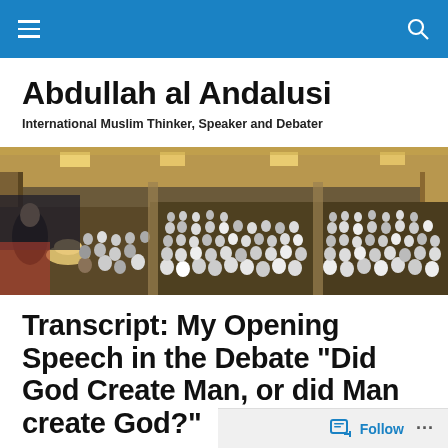Navigation bar with menu and search icons
Abdullah al Andalusi
International Muslim Thinker, Speaker and Debater
[Figure (photo): Wide panoramic photograph of a large audience seated in a hall, with a speaker visible at the front left and overhead lighting illuminating the crowded room.]
Transcript: My Opening Speech in the Debate “Did God Create Man, or did Man create God?”
Follow  ...